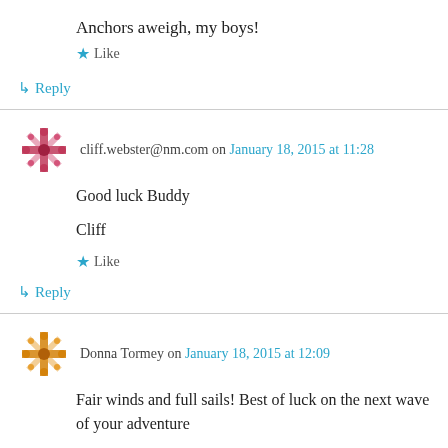Anchors aweigh, my boys!
★ Like
↳ Reply
cliff.webster@nm.com on January 18, 2015 at 11:28
Good luck Buddy
Cliff
★ Like
↳ Reply
Donna Tormey on January 18, 2015 at 12:09
Fair winds and full sails! Best of luck on the next wave of your adventure